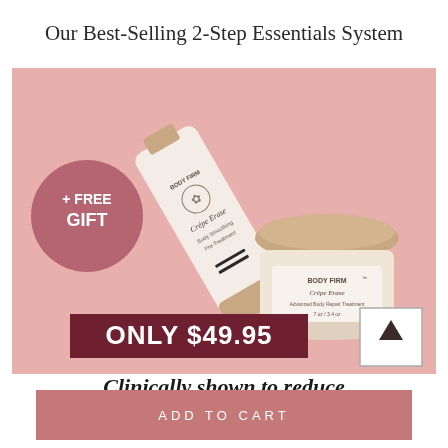Our Best-Selling 2-Step Essentials System
[Figure (photo): Product photo showing two Crepe Erase Body Firm skincare products on a pink background: a squeeze tube (Body Smoothing Pre-Treatment) and a jar (Advanced Body Repair Treatment), with a circular pink badge saying '+ FREE GIFT' and a price banner reading 'ONLY $49.95']
Clinically shown to reduce
ADD TO CART